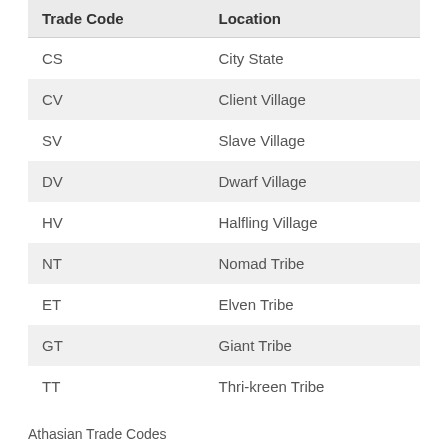| Trade Code | Location |
| --- | --- |
| CS | City State |
| CV | Client Village |
| SV | Slave Village |
| DV | Dwarf Village |
| HV | Halfling Village |
| NT | Nomad Tribe |
| ET | Elven Tribe |
| GT | Giant Tribe |
| TT | Thri-kreen Tribe |
Athasian Trade Codes